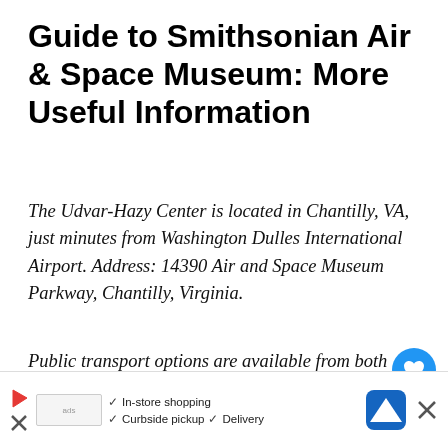Guide to Smithsonian Air & Space Museum: More Useful Information
The Udvar-Hazy Center is located in Chantilly, VA, just minutes from Washington Dulles International Airport. Address: 14390 Air and Space Museum Parkway, Chantilly, Virginia.
Public transport options are available from both the airport and DC. Udvar Hazy hours of operation are 10am-5.30pm, 7 days a week & admission is FREE.